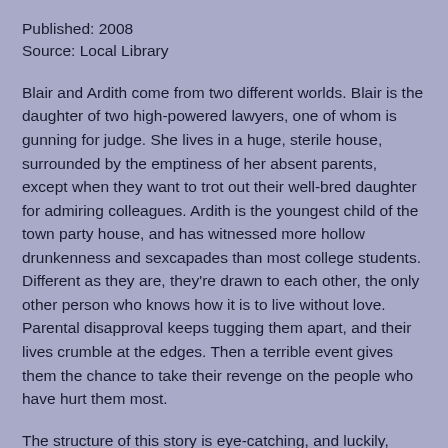Published: 2008
Source: Local Library
Blair and Ardith come from two different worlds. Blair is the daughter of two high-powered lawyers, one of whom is gunning for judge. She lives in a huge, sterile house, surrounded by the emptiness of her absent parents, except when they want to trot out their well-bred daughter for admiring colleagues. Ardith is the youngest child of the town party house, and has witnessed more hollow drunkenness and sexcapades than most college students. Different as they are, they're drawn to each other, the only other person who knows how it is to live without love. Parental disapproval keeps tugging them apart, and their lives crumble at the edges. Then a terrible event gives them the chance to take their revenge on the people who have hurt them most.
The structure of this story is eye-catching, and luckily, Wiess has the narrative chops to back it up. First, Blair and Ardith are telling their stories, looping back to past events to explain a recent one. (Of course, this brings up interesting thoughts of unreliable narrators, and Blair often appears much